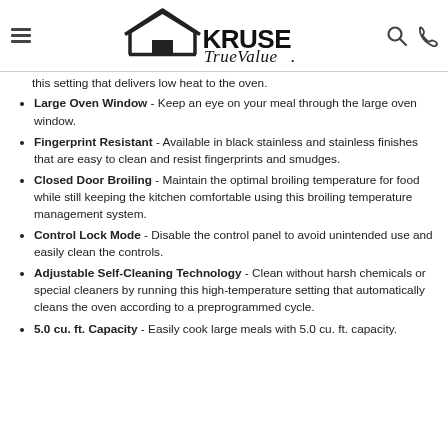[Figure (logo): Kruse True Value hardware store logo with house icon]
this setting that delivers low heat to the oven.
Large Oven Window - Keep an eye on your meal through the large oven window.
Fingerprint Resistant - Available in black stainless and stainless finishes that are easy to clean and resist fingerprints and smudges.
Closed Door Broiling - Maintain the optimal broiling temperature for food while still keeping the kitchen comfortable using this broiling temperature management system.
Control Lock Mode - Disable the control panel to avoid unintended use and easily clean the controls.
Adjustable Self-Cleaning Technology - Clean without harsh chemicals or special cleaners by running this high-temperature setting that automatically cleans the oven according to a preprogrammed cycle.
5.0 cu. ft. Capacity - Easily cook large meals with 5.0 cu. ft. capacity.